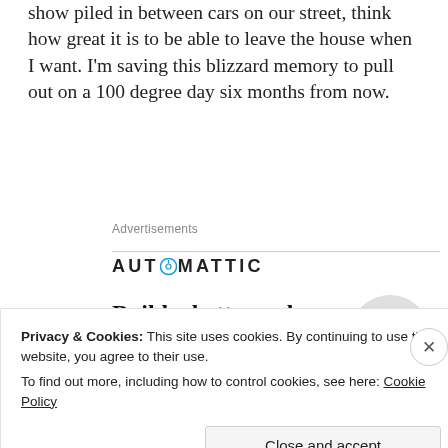show piled in between cars on our street, think how great it is to be able to leave the house when I want. I'm saving this blizzard memory to pull out on a 100 degree day six months from now.
Advertisements
[Figure (logo): Automattic logo with circular compass icon and text AUTOMATTIC in bold sans-serif with wide letter-spacing]
Build a better web and a better world.
[Figure (photo): Circular portrait photo of a person on a grey background, partially visible]
Privacy & Cookies: This site uses cookies. By continuing to use this website, you agree to their use.
To find out more, including how to control cookies, see here: Cookie Policy
Close and accept